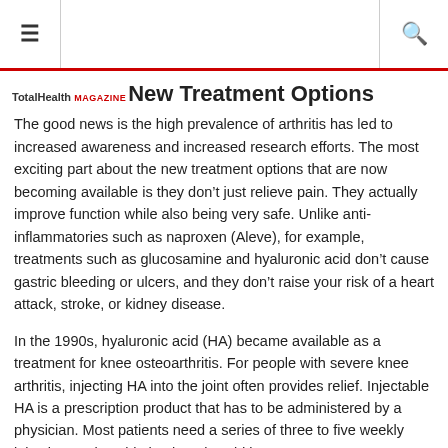≡  [search icon]
New Treatment Options
The good news is the high prevalence of arthritis has led to increased awareness and increased research efforts. The most exciting part about the new treatment options that are now becoming available is they don't just relieve pain. They actually improve function while also being very safe. Unlike anti-inflammatories such as naproxen (Aleve), for example, treatments such as glucosamine and hyaluronic acid don't cause gastric bleeding or ulcers, and they don't raise your risk of a heart attack, stroke, or kidney disease.
In the 1990s, hyaluronic acid (HA) became available as a treatment for knee osteoarthritis. For people with severe knee arthritis, injecting HA into the joint often provides relief. Injectable HA is a prescription product that has to be administered by a physician. Most patients need a series of three to five weekly injections. Injectable hyaluronic acid is